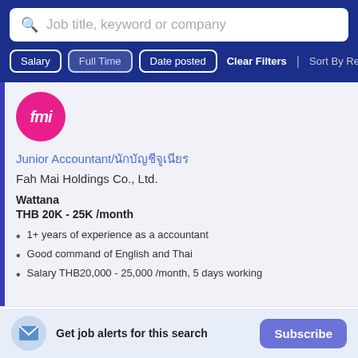Job title, keyword or company
Salary | Full Time | Date posted | Clear Filters | Sort By Rele...
[Figure (logo): Fah Mai Holdings company logo: pink circle with white stylized 'fmi' text]
Junior Accountant/นักบัญชีจูเนียร์
Fah Mai Holdings Co., Ltd.
Wattana
THB 20K - 25K /month
1+ years of experience as a accountant
Good command of English and Thai
Salary THB20,000 - 25,000 /month, 5 days working
Get job alerts for this search
Subscribe